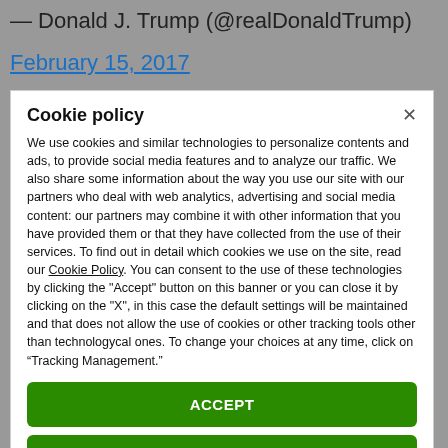— Donald J. Trump (@realDonaldTrump)
February 15, 2017
Cookie policy
We use cookies and similar technologies to personalize contents and ads, to provide social media features and to analyze our traffic. We also share some information about the way you use our site with our partners who deal with web analytics, advertising and social media content: our partners may combine it with other information that you have provided them or that they have collected from the use of their services. To find out in detail which cookies we use on the site, read our Cookie Policy. You can consent to the use of these technologies by clicking the "Accept" button on this banner or you can close it by clicking on the "X", in this case the default settings will be maintained and that does not allow the use of cookies or other tracking tools other than technologycal ones. To change your choices at any time, click on “Tracking Management.”
ACCEPT
TRACKERS MANAGEMENT
Show vendors | Show purposes